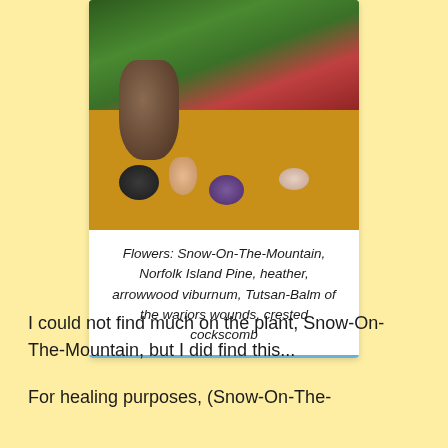[Figure (photo): Photo of a floral arrangement with Snow-On-The-Mountain, Norfolk Island Pine, heather, arrowwood viburnum, Tutsan-Balm of the wariors wounds, and crested cockscomb, along with various crystals and stones on a yellow/orange surface.]
Flowers: Snow-On-The-Mountain, Norfolk Island Pine, heather, arrowwood viburnum, Tutsan-Balm of the wariors wounds, crested cockscomb
I could not find much on the plant, Snow-On-The-Mountain, but I did find this...
For healing purposes, (Snow-On-The-